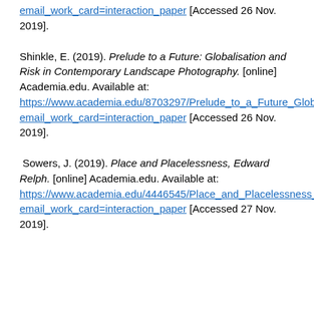email_work_card=interaction_paper [Accessed 26 Nov. 2019].
Shinkle, E. (2019). Prelude to a Future: Globalisation and Risk in Contemporary Landscape Photography. [online] Academia.edu. Available at: https://www.academia.edu/8703297/Prelude_to_a_Future_Globalisation_and_Risk_in_Contemporary_Landscape_Photography?email_work_card=interaction_paper [Accessed 26 Nov. 2019].
Sowers, J. (2019). Place and Placelessness, Edward Relph. [online] Academia.edu. Available at: https://www.academia.edu/4446545/Place_and_Placelessness_Edward_Relph?email_work_card=interaction_paper [Accessed 27 Nov. 2019].